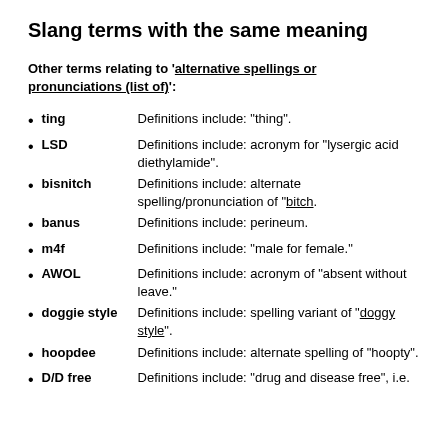Slang terms with the same meaning
Other terms relating to 'alternative spellings or pronunciations (list of)':
ting — Definitions include: "thing".
LSD — Definitions include: acronym for "lysergic acid diethylamide".
bisnitch — Definitions include: alternate spelling/pronunciation of "bitch.
banus — Definitions include: perineum.
m4f — Definitions include: "male for female."
AWOL — Definitions include: acronym of "absent without leave."
doggie style — Definitions include: spelling variant of "doggy style".
hoopdee — Definitions include: alternate spelling of "hoopty".
D/D free — Definitions include: "drug and disease free", i.e.